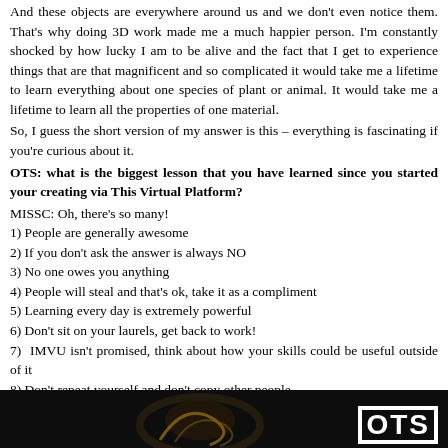And these objects are everywhere around us and we don't even notice them. That's why doing 3D work made me a much happier person. I'm constantly shocked by how lucky I am to be alive and the fact that I get to experience things that are that magnificent and so complicated it would take me a lifetime to learn everything about one species of plant or animal. It would take me a lifetime to learn all the properties of one material.
So, I guess the short version of my answer is this – everything is fascinating if you're curious about it.
OTS: what is the biggest lesson that you have learned since you started your creating via This Virtual Platform?
MISSC: Oh, there's so many!
1) People are generally awesome
2) If you don't ask the answer is always NO
3) No one owes you anything
4) People will steal and that's ok, take it as a compliment
5) Learning every day is extremely powerful
6) Don't sit on your laurels, get back to work!
7) IMVU isn't promised, think about how your skills could be useful outside of it
8) Don't repeat yourself and don't copy other people.
9) Don't cheat at Solitaire.
[Figure (illustration): Dark background image with decorative swirl/figure and OTS logo text in white on the right side]